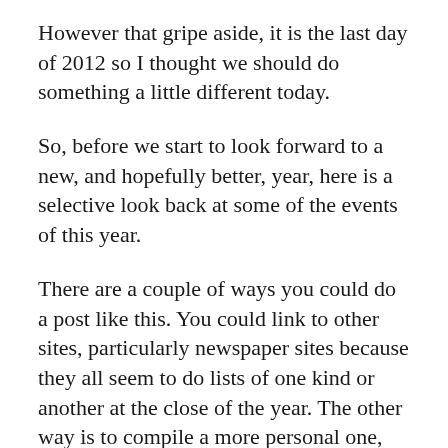However that gripe aside, it is the last day of 2012 so I thought we should do something a little different today.
So, before we start to look forward to a new, and hopefully better, year, here is a selective look back at some of the events of this year.
There are a couple of ways you could do a post like this. You could link to other sites, particularly newspaper sites because they all seem to do lists of one kind or another at the close of the year. The other way is to compile a more personal one, with the things you remember personally. Both are equally valid, but this being a blog I've chosen to go the more personal route and compile a list of the things I